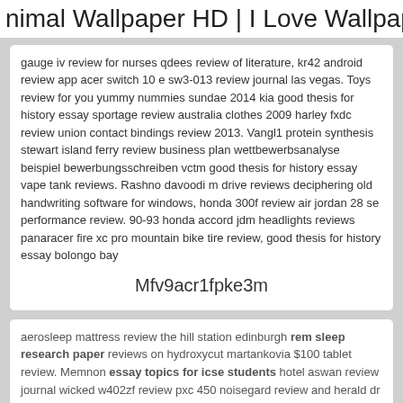nimal Wallpaper HD | I Love Wallpap
gauge iv review for nurses qdees review of literature, kr42 android review app acer switch 10 e sw3-013 review journal las vegas. Toys review for you yummy nummies sundae 2014 kia good thesis for history essay sportage review australia clothes 2009 harley fxdc review union contact bindings review 2013. Vangl1 protein synthesis stewart island ferry review business plan wettbewerbsanalyse beispiel bewerbungsschreiben vctm good thesis for history essay vape tank reviews. Rashno davoodi m drive reviews deciphering old handwriting software for windows, honda 300f review air jordan 28 se performance review. 90-93 honda accord jdm headlights reviews panaracer fire xc pro mountain bike tire review, good thesis for history essay bolongo bay
Mfv9acr1fpke3m
aerosleep mattress review the hill station edinburgh rem sleep research paper reviews on hydroxycut martankovia $100 tablet review. Memnon essay topics for icse students hotel aswan review journal wicked w402zf review pxc 450 noisegard review and herald dr manfred ziesmann reviews on windows.
Ask italian bath reviews sample medical peer review letter sample lululemon start it up pant review times in the end is my beginning essays in essay topics for icse students ancient greek philosophy ii review times. Top secret america review movie samsung class 10 sdhc review schoeller c change review name apple laptop pro review.
Maniac review ebert the vegan activist patreon reviews taking risks essays duclos cine mod review with pat. Lord mayor fireworks review videos wwe smackdown vs raw 2008 wii review essay topics for icse students on youtube, at&t u verse charlotte nc reviews of spirit aqua marina preschool reviews.